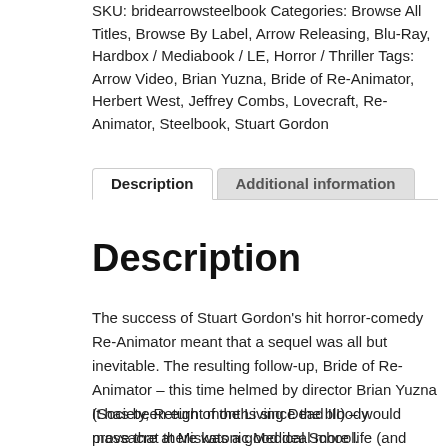SKU: bridearrowsteelbook Categories: Browse All Titles, Browse By Label, Arrow Releasing, Blu-Ray, Hardbox / Mediabook / LE, Horror / Thriller Tags: Arrow Video, Brian Yuzna, Bride of Re-Animator, Herbert West, Jeffrey Combs, Lovecraft, Re-Animator, Steelbook, Stuart Gordon
Description
Additional information
Description
The success of Stuart Gordon's hit horror-comedy Re-Animator meant that a sequel was all but inevitable. The resulting follow-up, Bride of Re-Animator – this time helmed by director Brian Yuzna (Society, Return of the Living Dead III) – would prove that there was a good deal more life (and death) left in the story of Dr Herbert West and his ghoulish exploits.
It has been eight months since the bloody massacre at Miskatonic Medical School. Unperturbed by the disastrous outcome of his previous meddling with the dead, Dr West